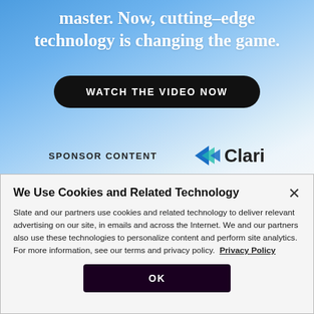master. Now, cutting-edge technology is changing the game.
[Figure (other): WATCH THE VIDEO NOW button - black rounded rectangle button with white uppercase text]
SPONSOR CONTENT   Clari
We Use Cookies and Related Technology
Slate and our partners use cookies and related technology to deliver relevant advertising on our site, in emails and across the Internet. We and our partners also use these technologies to personalize content and perform site analytics. For more information, see our terms and privacy policy.  Privacy Policy
[Figure (other): OK button - dark purple/maroon rounded rectangle button with white uppercase text]